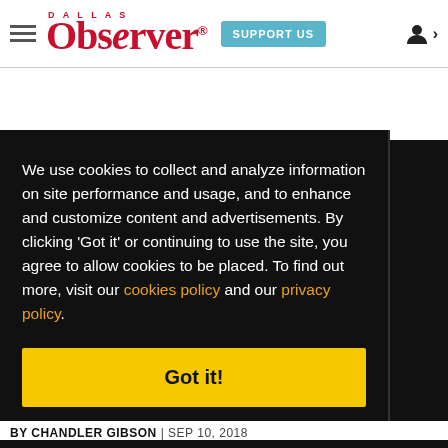Dallas Observer | SUPPORT US
We use cookies to collect and analyze information on site performance and usage, and to enhance and customize content and advertisements. By clicking 'Got it' or continuing to use the site, you agree to allow cookies to be placed. To find out more, visit our cookies policy and our privacy policy.
Got it!
oxas ng
BY CHANDLER GIBSON | SEP 10, 2018